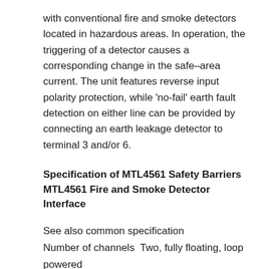with conventional fire and smoke detectors located in hazardous areas. In operation, the triggering of a detector causes a corresponding change in the safe–area current. The unit features reverse input polarity protection, while 'no-fail' earth fault detection on either line can be provided by connecting an earth leakage detector to terminal 3 and/or 6.
Specification of MTL4561 Safety Barriers MTL4561 Fire and Smoke Detector Interface
See also common specification
Number of channels  Two, fully floating, loop powered
Location of fire and smoke detectors
Zone 0, IIC, T4–6 hazardous area if suitably certified
Div. 1, Group A, hazardous area
Input voltage  6 to 30V dc